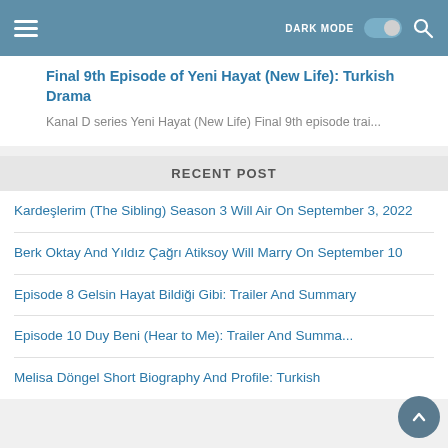DARK MODE [toggle] [search]
Final 9th Episode of Yeni Hayat (New Life): Turkish Drama
Kanal D series Yeni Hayat (New Life) Final 9th episode trai...
RECENT POST
Kardeşlerim (The Sibling) Season 3 Will Air On September 3, 2022
Berk Oktay And Yıldız Çağrı Atiksoy Will Marry On September 10
Episode 8 Gelsin Hayat Bildiği Gibi: Trailer And Summary
Episode 10 Duy Beni (Hear to Me): Trailer And Summ...
Melisa Döngel Short Biography And Profile: Turkish